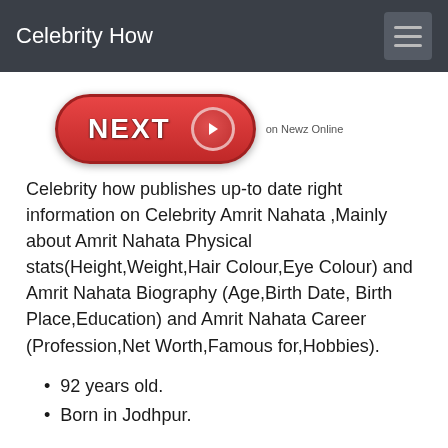Celebrity How
[Figure (other): NEXT button with arrow on red rounded pill shape, with 'on Newz Online' label]
Celebrity how publishes up-to date right information on Celebrity Amrit Nahata ,Mainly about Amrit Nahata Physical stats(Height,Weight,Hair Colour,Eye Colour) and Amrit Nahata Biography (Age,Birth Date, Birth Place,Education) and Amrit Nahata Career (Profession,Net Worth,Famous for,Hobbies).
92 years old.
Born in Jodhpur.